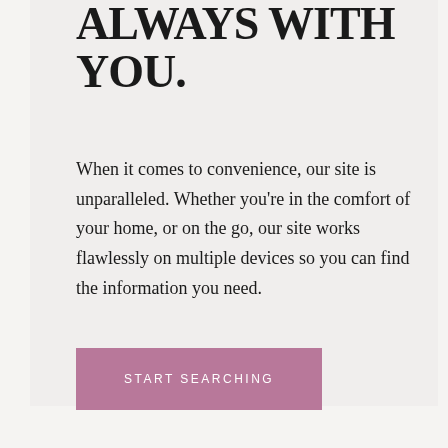ALWAYS WITH YOU.
When it comes to convenience, our site is unparalleled. Whether you're in the comfort of your home, or on the go, our site works flawlessly on multiple devices so you can find the information you need.
START SEARCHING